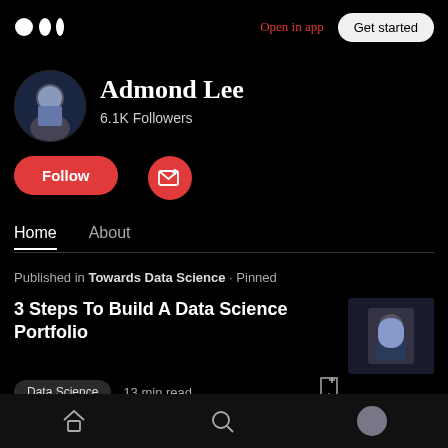Medium logo | Open in app | Get started
[Figure (photo): Circular profile photo of Admond Lee, a person in a blue shirt against a city night background]
Admond Lee
6.1K Followers
Follow
Subscribe (envelope icon with plus)
Home  About
Published in Towards Data Science · Pinned
3 Steps To Build A Data Science Portfolio
[Figure (photo): Thumbnail image of a person in a suit adjusting their collar]
Data Science  13 min read
Home icon | Search icon | Profile avatar